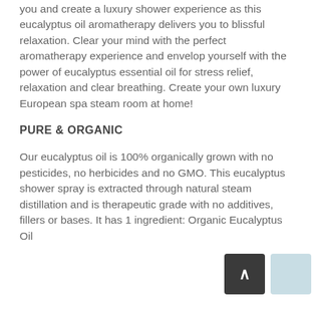you and create a luxury shower experience as this eucalyptus oil aromatherapy delivers you to blissful relaxation. Clear your mind with the perfect aromatherapy experience and envelop yourself with the power of eucalyptus essential oil for stress relief, relaxation and clear breathing. Create your own luxury European spa steam room at home!
PURE & ORGANIC
Our eucalyptus oil is 100% organically grown with no pesticides, no herbicides and no GMO. This eucalyptus shower spray is extracted through natural steam distillation and is therapeutic grade with no additives, fillers or bases. It has 1 ingredient: Organic Eucalyptus Oil